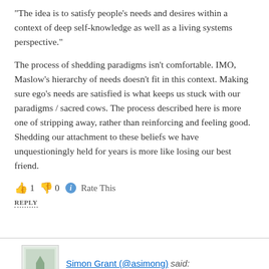“The idea is to satisfy people’s needs and desires within a context of deep self-knowledge as well as a living systems perspective.”
The process of shedding paradigms isn't comfortable. IMO, Maslow's hierarchy of needs doesn’t fit in this context. Making sure ego's needs are satisfied is what keeps us stuck with our paradigms / sacred cows. The process described here is more one of stripping away, rather than reinforcing and feeling good. Shedding our attachment to these beliefs we have unquestioningly held for years is more like losing our best friend.
👍 1 👎 0 ⓘ Rate This
REPLY
Simon Grant (@asimong) said:
July 22, 2012 at 6:15 am
Have you come across Robert Kegan (“In Over Our Heads”) or his predecessor, William G Perry? Seems like